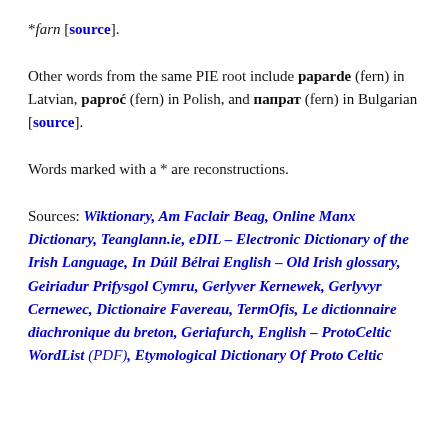*farn [source].
Other words from the same PIE root include paparde (fern) in Latvian, paproć (fern) in Polish, and папрат (fern) in Bulgarian [source].
Words marked with a * are reconstructions.
Sources: Wiktionary, Am Faclair Beag, Online Manx Dictionary, Teanglann.ie, eDIL – Electronic Dictionary of the Irish Language, In Dúil Bélrai English – Old Irish glossary, Geiriadur Prifysgol Cymru, Gerlyver Kernewek, Gerlyvyr Cernewec, Dictionaire Favereau, TermOfis, Le dictionnaire diachronique du breton, Geriafurch, English – ProtoCeltic WordList (PDF), Etymological Dictionary Of Proto Celtic